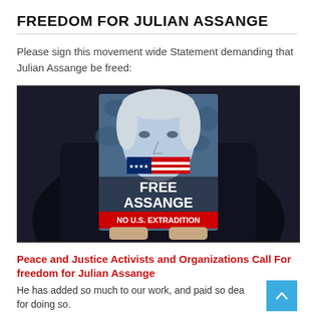FREEDOM FOR JULIAN ASSANGE
Please sign this movement wide Statement demanding that Julian Assange be freed:
[Figure (photo): A person holding a sign/placard showing Julian Assange's face with text reading 'FREE ASSANGE NO U.S. EXTRADITION' and an American flag across the mouth]
Peace and Justice Activists and Organizations Call For freedom for Julian Assange
He has added so much to our work, and paid so dea for doing so.